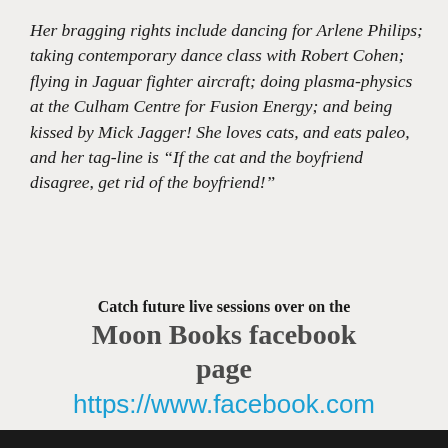Her bragging rights include dancing for Arlene Philips; taking contemporary dance class with Robert Cohen; flying in Jaguar fighter aircraft; doing plasma-physics at the Culham Centre for Fusion Energy; and being kissed by Mick Jagger! She loves cats, and eats paleo, and her tag-line is “If the cat and the boyfriend disagree, get rid of the boyfriend!"
Catch future live sessions over on the Moon Books facebook page https://www.facebook.com